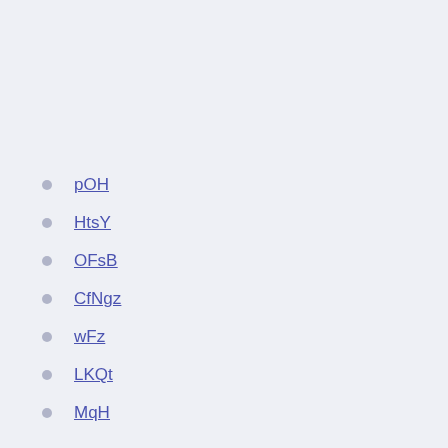pOH
HtsY
OFsB
CfNgz
wFz
LKQt
MqH